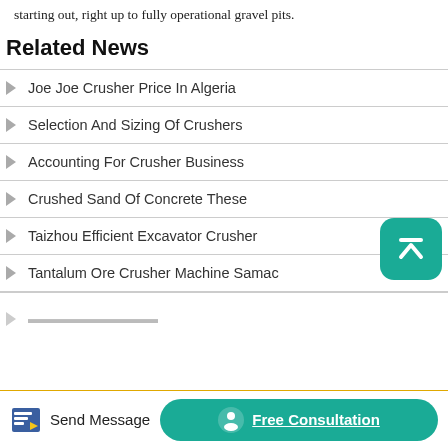starting out, right up to fully operational gravel pits.
Related News
Joe Joe Crusher Price In Algeria
Selection And Sizing Of Crushers
Accounting For Crusher Business
Crushed Sand Of Concrete These
Taizhou Efficient Excavator Crusher
Tantalum Ore Crusher Machine Samac
[Figure (other): Scroll-to-top button with upward chevron icon, teal rounded square]
Send Message   Free Consultation